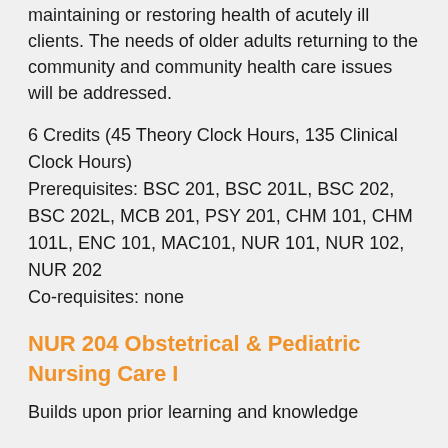maintaining or restoring health of acutely ill clients. The needs of older adults returning to the community and community health care issues will be addressed.
6 Credits (45 Theory Clock Hours, 135 Clinical Clock Hours)
Prerequisites: BSC 201, BSC 201L, BSC 202, BSC 202L, MCB 201, PSY 201, CHM 101, CHM 101L, ENC 101, MAC101, NUR 101, NUR 102, NUR 202
Co-requisites: none
NUR 204 Obstetrical & Pediatric Nursing Care I
Builds upon prior learning and knowledge